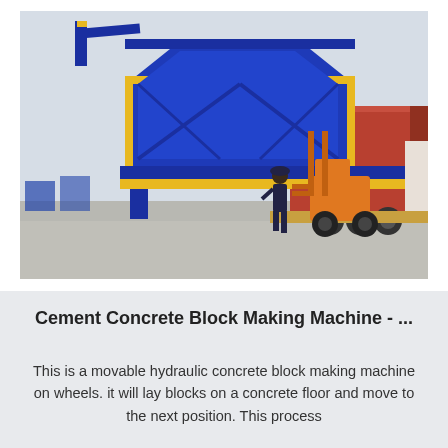[Figure (photo): A large blue and yellow industrial machine (cement concrete block making machine) being loaded onto a flatbed truck using an orange forklift. A worker in dark clothing stands nearby. The machine has a hopper-like structure with yellow trim. The truck is red/orange. Background shows a paved industrial yard.]
Cement Concrete Block Making Machine - ...
This is a movable hydraulic concrete block making machine on wheels. it will lay blocks on a concrete floor and move to the next position. This process